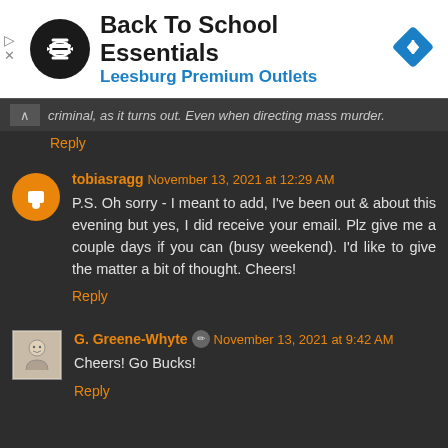[Figure (other): Advertisement banner: black circular logo with arrow symbol, text 'Back To School Essentials' in bold black, 'Leesburg Premium Outlets' in blue, blue diamond navigation icon on right]
criminal, as it turns out. Even when directing mass murder.
Reply
tobiasragg November 13, 2021 at 12:29 AM
P.S. Oh sorry - I meant to add, I've been out & about this evening but yes, I did receive your email. Plz give me a couple days if you can (busy weekend). I'd like to give the matter a bit of thought. Cheers!
Reply
G. Greene-Whyte November 13, 2021 at 9:42 AM
Cheers! Go Bucks!
Reply